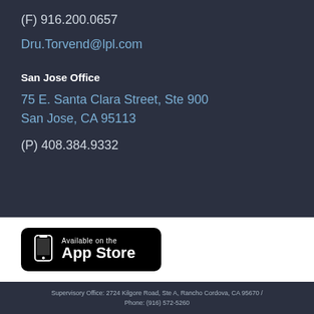(F) 916.200.0657
Dru.Torvend@lpl.com
San Jose Office
75 E. Santa Clara Street, Ste 900
San Jose, CA 95113
(P) 408.384.9332
[Figure (logo): App Store badge — black rounded rectangle with phone icon and text 'Available on the App Store']
Supervisory Office: 2724 Kilgore Road, Ste A, Rancho Cordova, CA 95670 / Phone: (916) 572-5260